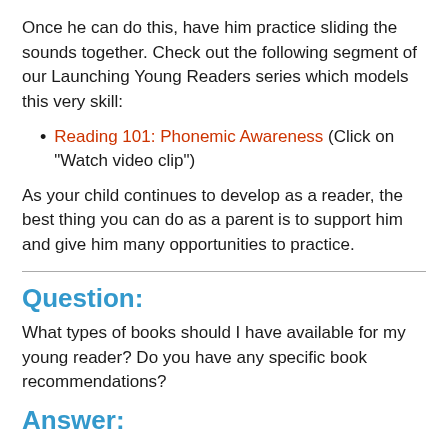Once he can do this, have him practice sliding the sounds together. Check out the following segment of our Launching Young Readers series which models this very skill:
Reading 101: Phonemic Awareness (Click on "Watch video clip")
As your child continues to develop as a reader, the best thing you can do as a parent is to support him and give him many opportunities to practice.
Question:
What types of books should I have available for my young reader? Do you have any specific book recommendations?
Answer:
To keep your child engaged with reading, you should keep a wide variety of books on hand, and make sure to include books on topics that interest him. In your book collection, keep books